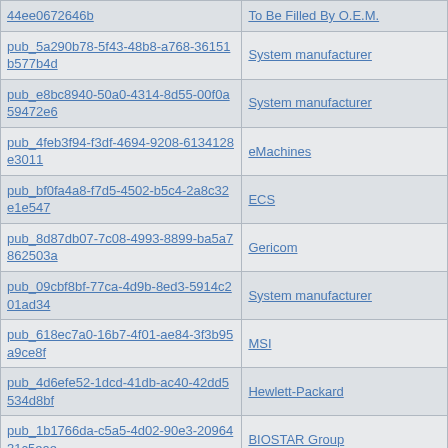| Publisher ID | Manufacturer |
| --- | --- |
| 44ee0672646b | To Be Filled By O.E.M. |
| pub_5a290b78-5f43-48b8-a768-36151b577b4d | System manufacturer |
| pub_e8bc8940-50a0-4314-8d55-00f0a59472e6 | System manufacturer |
| pub_4feb3f94-f3df-4694-9208-6134128e3011 | eMachines |
| pub_bf0fa4a8-f7d5-4502-b5c4-2a8c32e1e547 | ECS |
| pub_8d87db07-7c08-4993-8899-ba5a7862503a | Gericom |
| pub_09cbf8bf-77ca-4d9b-8ed3-5914c201ad34 | System manufacturer |
| pub_618ec7a0-16b7-4f01-ae84-3f3b95a9ce8f | MSI |
| pub_4d6efe52-1dcd-41db-ac40-42dd5534d8bf | Hewlett-Packard |
| pub_1b1766da-c5a5-4d02-90e3-2096431c5eae | BIOSTAR Group |
| pub_8d10b331-0521-4f8e-89a8-a43ec1df622e | MSI |
| pub_9f5b1d3f-8b0c-4b48-894d-c8364c5075ca |  |
| pub_711e5442-0a51-41c2-a16b-01e9a3cefe77 | System manufacturer |
| pub_54f05f7c-c7b7-49a1-96a1-2782a944a41e | System manufacturer |
| pub_cb83e1e6-f1c1-41c0-9cb4-... | System manufacturer |